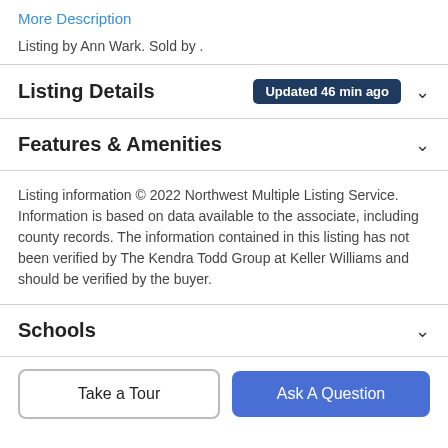More Description
Listing by Ann Wark. Sold by .
Listing Details  Updated 46 min ago
Features & Amenities
Listing information © 2022 Northwest Multiple Listing Service. Information is based on data available to the associate, including county records. The information contained in this listing has not been verified by The Kendra Todd Group at Keller Williams and should be verified by the buyer.
Schools
Take a Tour
Ask A Question